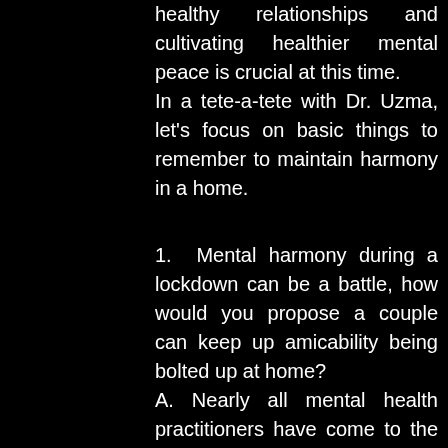healthy relationships and cultivating healthier mental peace is crucial at this time. In a tete-a-tete with Dr. Uzma, let's focus on basic things to remember to maintain harmony in a home.
1. Mental harmony during a lockdown can be a battle, how would you propose a couple can keep up amicability being bolted up at home?
A. Nearly all mental health practitioners have come to the same conclusion for couples during this lockdown which is represented by 'agreed boundaries'. Most of us are confined to small or medium spaced apartments. Few of us are lucky to have a balcony for a sanctuary while others have just a